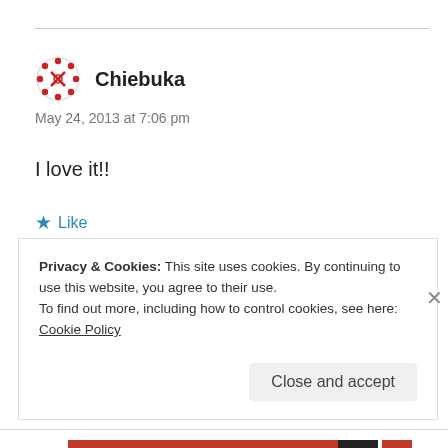Chiebuka
May 24, 2013 at 7:06 pm
I love it!!
★ Like
Reply
Privacy & Cookies: This site uses cookies. By continuing to use this website, you agree to their use.
To find out more, including how to control cookies, see here: Cookie Policy
Close and accept